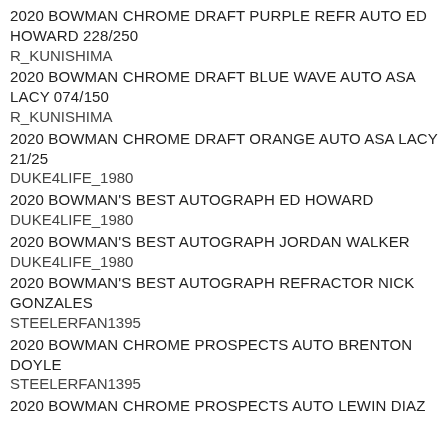2020 BOWMAN CHROME DRAFT PURPLE REFR AUTO ED HOWARD 228/250
R_KUNISHIMA
2020 BOWMAN CHROME DRAFT BLUE WAVE AUTO ASA LACY 074/150
R_KUNISHIMA
2020 BOWMAN CHROME DRAFT ORANGE AUTO ASA LACY 21/25
DUKE4LIFE_1980
2020 BOWMAN'S BEST AUTOGRAPH ED HOWARD
DUKE4LIFE_1980
2020 BOWMAN'S BEST AUTOGRAPH JORDAN WALKER
DUKE4LIFE_1980
2020 BOWMAN'S BEST AUTOGRAPH REFRACTOR NICK GONZALES
STEELERFAN1395
2020 BOWMAN CHROME PROSPECTS AUTO BRENTON DOYLE
STEELERFAN1395
2020 BOWMAN CHROME PROSPECTS AUTO LEWIN DIAZ